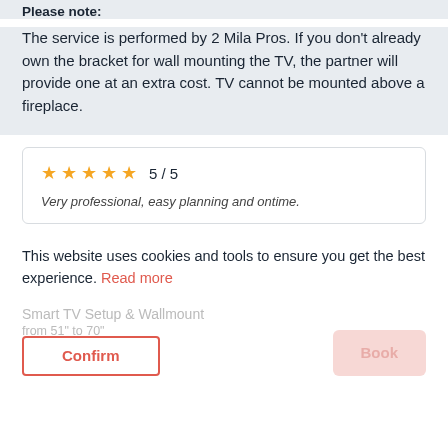Please note:
The service is performed by 2 Mila Pros. If you don't already own the bracket for wall mounting the TV, the partner will provide one at an extra cost. TV cannot be mounted above a fireplace.
[Figure (other): Review card with 5 gold stars rating showing 5/5 and review text]
Very professional, easy planning and ontime.
This website uses cookies and tools to ensure you get the best experience. Read more
Smart TV Setup & Wallmount
from 51" to 70"
207 €
Confirm
Book